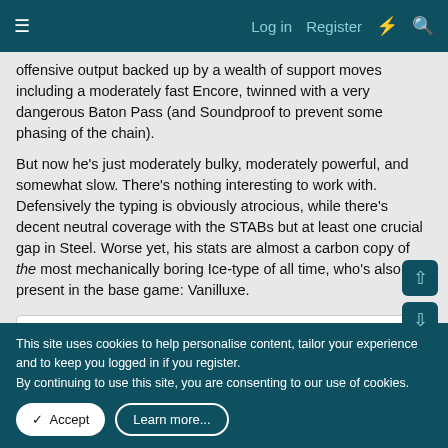≡  Log in  Register ⚡ 🔍
offensive output backed up by a wealth of support moves including a moderately fast Encore, twinned with a very dangerous Baton Pass (and Soundproof to prevent some phasing of the chain).
But now he's just moderately bulky, moderately powerful, and somewhat slow. There's nothing interesting to work with. Defensively the typing is obviously atrocious, while there's decent neutral coverage with the STABs but at least one crucial gap in Steel. Worse yet, his stats are almost a carbon copy of the most mechanically boring Ice-type of all time, who's also present in the base game: Vanilluxe.
Base stats
This site uses cookies to help personalise content, tailor your experience and to keep you logged in if you register.
By continuing to use this site, you are consenting to our use of cookies.